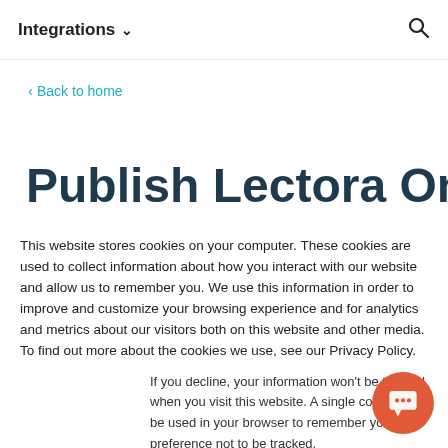Integrations ∨
< Back to home
Publish Lectora Online
This website stores cookies on your computer. These cookies are used to collect information about how you interact with our website and allow us to remember you. We use this information in order to improve and customize your browsing experience and for analytics and metrics about our visitors both on this website and other media. To find out more about the cookies we use, see our Privacy Policy.
If you decline, your information won't be tracked when you visit this website. A single cookie will be used in your browser to remember your preference not to be tracked.